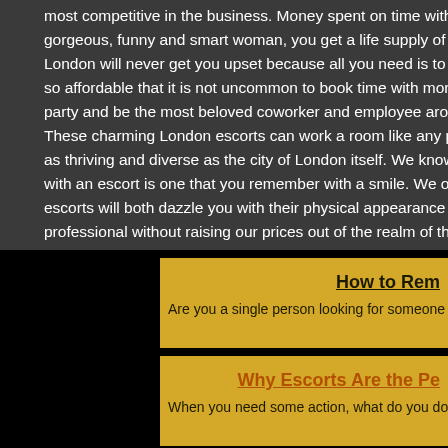most competitive in the business. Money spent on time with our Londo gorgeous, funny and smart woman, you get a life supply of memories. London will never get you upset because all you need is to recall the s so affordable that it is not uncommon to book time with more than one party and be the most beloved coworker and employee around. Host These charming London escorts can work a room like any pro and wi as thriving and diverse as the city of London itself. We know that ther with an escort is one that you remember with a smile. We offer beaut escorts will both dazzle you with their physical appearance and keep professional without raising our prices out of the realm of the affordab competitive London escorts services around. Don't just spend all your London that will turn heads and keep you laughing. Call now to book t
How to Rem
Are you a single person looking for someone to
Why Escorts Are the Pe
When you need some action, what do you do
How to Book